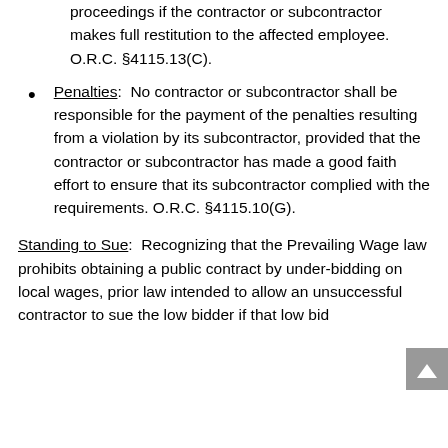proceedings if the contractor or subcontractor makes full restitution to the affected employee.  O.R.C. §4115.13(C).
Penalties:  No contractor or subcontractor shall be responsible for the payment of the penalties resulting from a violation by its subcontractor, provided that the contractor or subcontractor has made a good faith effort to ensure that its subcontractor complied with the requirements. O.R.C. §4115.10(G).
Standing to Sue:  Recognizing that the Prevailing Wage law prohibits obtaining a public contract by under-bidding on local wages, prior law intended to allow an unsuccessful contractor to sue the low bidder if that low bid